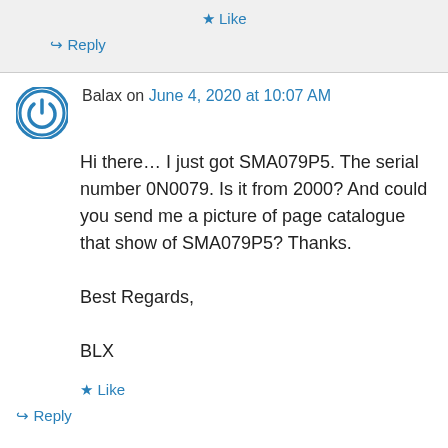★ Like
↪ Reply
Balax on June 4, 2020 at 10:07 AM
Hi there… I just got SMA079P5. The serial number 0N0079. Is it from 2000? And could you send me a picture of page catalogue that show of SMA079P5? Thanks.

Best Regards,

BLX
★ Like
↪ Reply